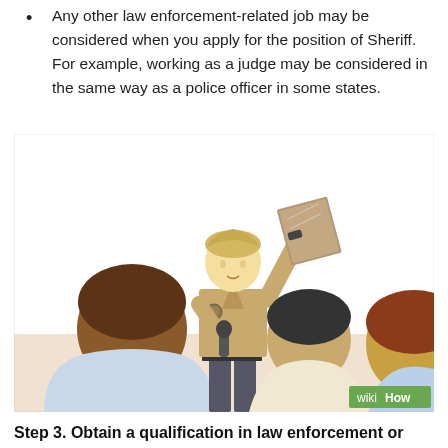Any other law enforcement-related job may be considered when you apply for the position of Sheriff. For example, working as a judge may be considered in the same way as a police officer in some states.
[Figure (illustration): WikiHow illustration showing a sheriff or law enforcement officer in a tan uniform holding up a book/document in one hand and a microphone in the other, speaking to an audience of three people seated with their backs to the viewer. A wikiHow watermark appears in the bottom right corner.]
Step 3. Obtain a qualification in law enforcement or justice